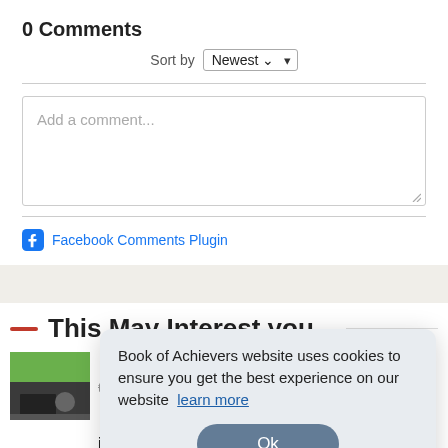0 Comments
Sort by Newest
[Figure (screenshot): Comment text input box with placeholder text 'Add a comment...']
Facebook Comments Plugin
This May Interest you...
[Figure (screenshot): Cookie consent popup: 'Book of Achievers website uses cookies to ensure you get the best experience on our website learn more' with Ok button]
in just 4 years.